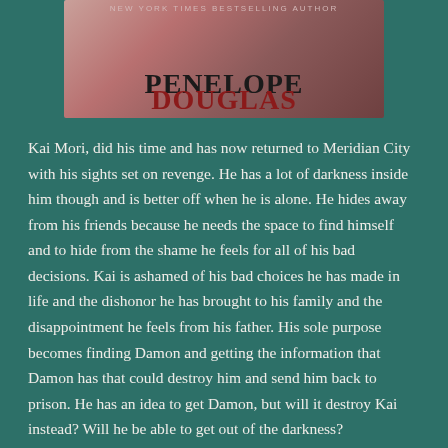[Figure (illustration): Book cover image showing author name 'PENELOPE DOUGLAS' with 'New York Times Bestselling Author' above it, on a reddish-pink background with abstract imagery]
Kai Mori, did his time and has now returned to Meridian City with his sights set on revenge. He has a lot of darkness inside him though and is better off when he is alone. He hides away from his friends because he needs the space to find himself and to hide from the shame he feels for all of his bad decisions. Kai is ashamed of his bad choices he has made in life and the dishonor he has brought to his family and the disappointment he feels from his father. His sole purpose becomes finding Damon and getting the information that Damon has that could destroy him and send him back to prison. He has an idea to get Damon, but will it destroy Kai instead? Will he be able to get out of the darkness?